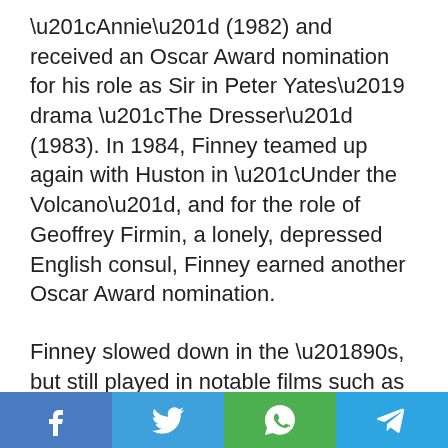“Annie” (1982) and received an Oscar Award nomination for his role as Sir in Peter Yates’ drama “The Dresser” (1983). In 1984, Finney teamed up again with Huston in “Under the Volcano”, and for the role of Geoffrey Firmin, a lonely, depressed English consul, Finney earned another Oscar Award nomination.
Finney slowed down in the ‘90s, but still played in notable films such as the Brothers Coen’s “Miller’s Crossing” (1990) with Gabriel Byrne and John Turturro. In 1994, Albert played Andrew Crocker-Harris in Mike Figgis’ BAFTA-nominated “The Browning Version”, the story about a
Social share bar: Facebook, Twitter, WhatsApp, Telegram